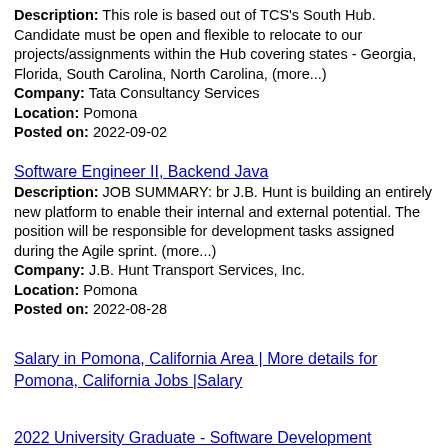Description: This role is based out of TCS's South Hub. Candidate must be open and flexible to relocate to our projects/assignments within the Hub covering states - Georgia, Florida, South Carolina, North Carolina, (more...)
Company: Tata Consultancy Services
Location: Pomona
Posted on: 2022-09-02
Software Engineer II, Backend Java
Description: JOB SUMMARY: br J.B. Hunt is building an entirely new platform to enable their internal and external potential. The position will be responsible for development tasks assigned during the Agile sprint. (more...)
Company: J.B. Hunt Transport Services, Inc.
Location: Pomona
Posted on: 2022-08-28
Salary in Pomona, California Area | More details for Pomona, California Jobs |Salary
2022 University Graduate - Software Development Engineer 1
Description: OUR COMPANY br Changing the world through digital experiences is what Adobe's all about. We give everyone-